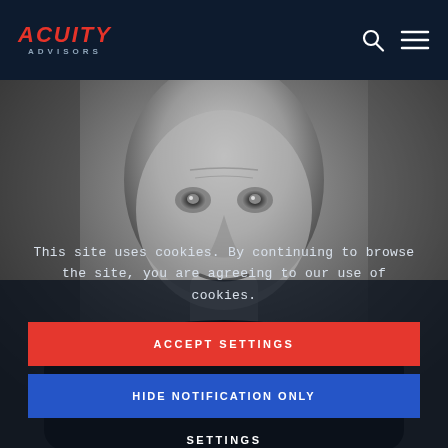ACUITY ADVISORS
[Figure (photo): Black and white close-up photograph of a bald middle-aged man looking at the camera, shown from shoulders up, with neutral background.]
This site uses cookies. By continuing to browse the site, you are agreeing to our use of cookies.
ACCEPT SETTINGS
HIDE NOTIFICATION ONLY
SETTINGS